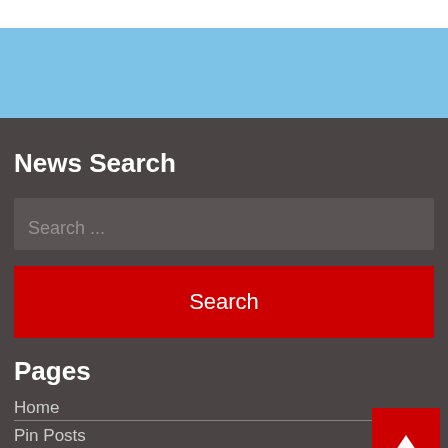News Search
Search ...
Search
Pages
Home
Pin Posts